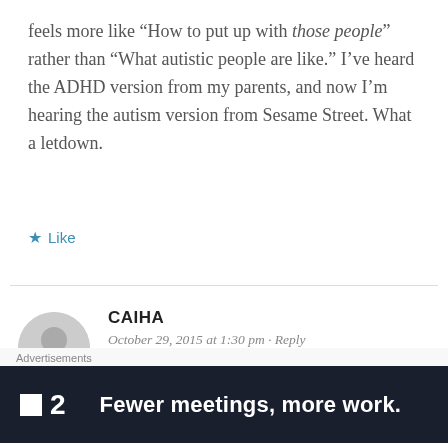feels more like “How to put up with those people” rather than “What autistic people are like.” I’ve heard the ADHD version from my parents, and now I’m hearing the autism version from Sesame Street. What a letdown.
★ Like
CAIHA
October 29, 2015 at 1:30 pm · Reply
Oh you hadn’t heard? We cease to exist
[Figure (other): Advertisement banner: dark navy background with a small white square icon, the number 2, and the text 'Fewer meetings, more work.' in bold white. Labeled 'Advertisements' above.]